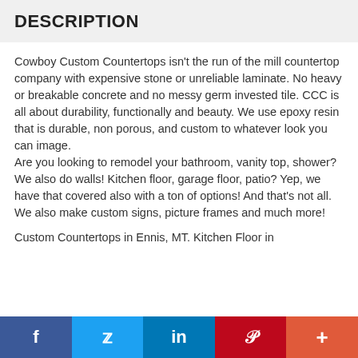DESCRIPTION
Cowboy Custom Countertops isn't the run of the mill countertop company with expensive stone or unreliable laminate. No heavy or breakable concrete and no messy germ invested tile. CCC is all about durability, functionally and beauty. We use epoxy resin that is durable, non porous, and custom to whatever look you can image.
Are you looking to remodel your bathroom, vanity top, shower? We also do walls! Kitchen floor, garage floor, patio? Yep, we have that covered also with a ton of options! And that's not all. We also make custom signs, picture frames and much more!
Custom Countertops in Ennis, MT. Kitchen Floor in
f  y  in  P  +